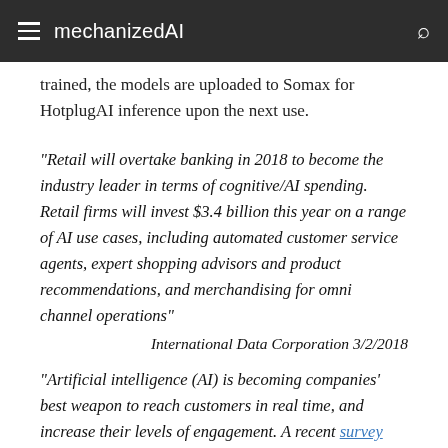mechanizedAI
trained, the models are uploaded to Somax for HotplugAI inference upon the next use.
"Retail will overtake banking in 2018 to become the industry leader in terms of cognitive/AI spending. Retail firms will invest $3.4 billion this year on a range of AI use cases, including automated customer service agents, expert shopping advisors and product recommendations, and merchandising for omni channel operations"
International Data Corporation 3/2/2018
"Artificial intelligence (AI) is becoming companies' best weapon to reach customers in real time, and increase their levels of engagement. A recent survey reveals that AI makes people shop more, spend more money and spread the word about it to all their friends. The study, based on a survey of